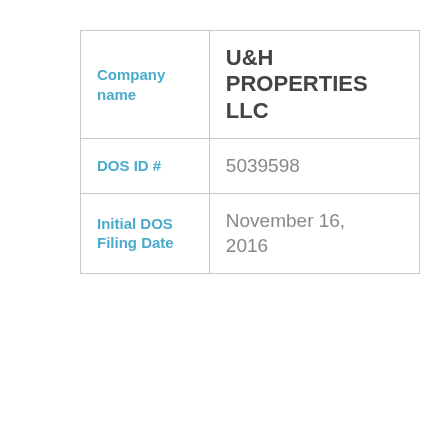| Company name | U&H PROPERTIES LLC |
| DOS ID # | 5039598 |
| Initial DOS Filing Date | November 16, 2016 |